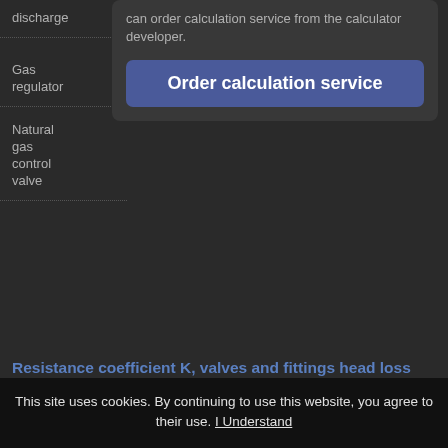discharge
Gas regulator
Natural gas control valve
can order calculation service from the calculator developer.
Order calculation service
Resistance coefficient K, valves and fittings head loss and flow velocity | Pipe equivalent length L/D
Pressure drop or head loss is proportional to the velocity in valves or fittings. For the most engineering practices it can be assumed that pressure drop or head loss due to flow of fluids in turbulent range through valves and fittings is proportional to square of velocity.
To avoid expensive testing of every valves and every fittings
This site uses cookies. By continuing to use this website, you agree to their use. I Understand